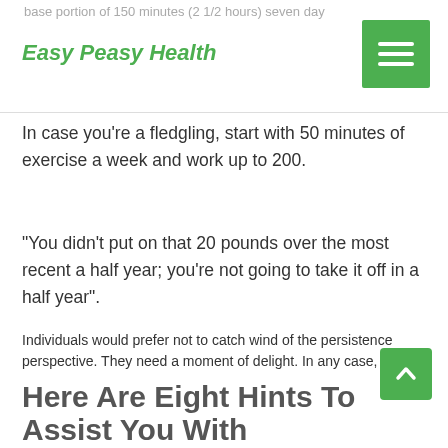base portion of 150 minutes (2 1/2 hours) seven day
Easy Peasy Health
In case you're a fledgling, start with 50 minutes of exercise a week and work up to 200.
"You didn't put on that 20 pounds over the most recent a half year; you're not going to take it off in a half year".
Individuals would prefer not to catch wind of the persistence perspective. They need a moment of delight. In any case, the cool, hard the truth is in the event that you need to lose weight and keep it. Nobody loses weight and keeps it off easily.
Here Are Eight Hints To Assist You With